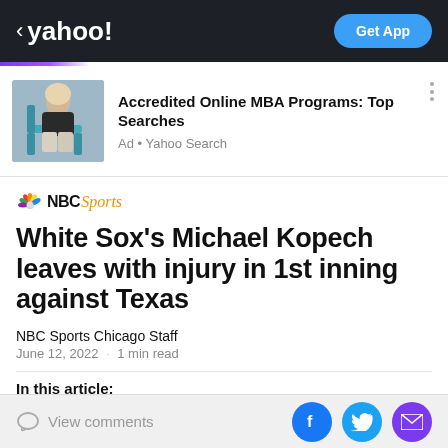< yahoo!  Get App
[Figure (photo): Woman sitting on a blue chair with a laptop, in a grey room]
Accredited Online MBA Programs: Top Searches
Ad • Yahoo Search
[Figure (logo): NBC Sports logo with peacock icon]
White Sox's Michael Kopech leaves with injury in 1st inning against Texas
NBC Sports Chicago Staff
June 12, 2022  ·  1 min read
In this article:
View comments